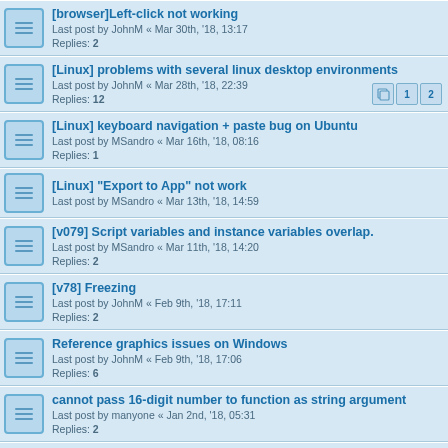[browser]Left-click not working
Last post by JohnM « Mar 30th, '18, 13:17
Replies: 2
[Linux] problems with several linux desktop environments
Last post by JohnM « Mar 28th, '18, 22:39
Replies: 12
[Linux] keyboard navigation + paste bug on Ubuntu
Last post by MSandro « Mar 16th, '18, 08:16
Replies: 1
[Linux] "Export to App" not work
Last post by MSandro « Mar 13th, '18, 14:59
[v079] Script variables and instance variables overlap.
Last post by MSandro « Mar 11th, '18, 14:20
Replies: 2
[v78] Freezing
Last post by JohnM « Feb 9th, '18, 17:11
Replies: 2
Reference graphics issues on Windows
Last post by JohnM « Feb 9th, '18, 17:06
Replies: 6
cannot pass 16-digit number to function as string argument
Last post by manyone « Jan 2nd, '18, 05:31
Replies: 2
stop doesnt stop - it's more like pause. is this normal
Last post by SimpleSi « Dec 15th, '17, 12:49
Replies: 2
When click open Demo's and Project starters not visible
Last post by MrSteve « Dec 11th, '17, 00:22
Replies: 6